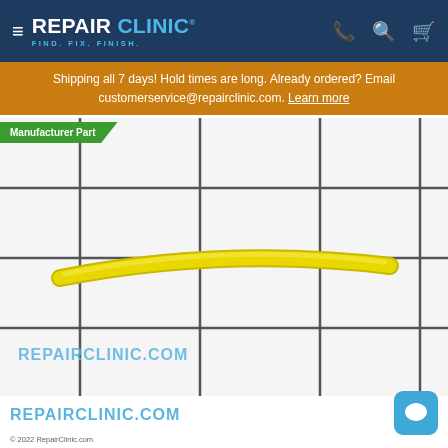REPAIR CLINIC — FIND. FIX. FINISH.
Shipping all 7 days! Hold times are long. Already ordered? Email customerservice@repairclinic.com. Learn more
Manufacturer Part
[Figure (photo): A yellow trimmer line/fuel line piece photographed on a white grid background with dark grey grid lines. The yellow tube curves slightly in the center of the image. A watermark reads REPAIRCLINIC.COM in the lower left.]
© 2022 RepairClinic.com